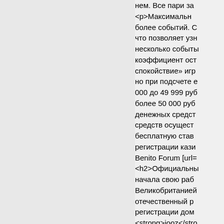нем. Все пари за... <p>Максимальн... более событий. С... что позволяет узн... несколько событы... коэффициент ост... спокойствие» игр... но при подсчете е... 000 до 49 999 руб... более 50 000 руб... денежных средст... средств осушест... бесплатную став... регистрации кази... Benito Forum [url=... <h2>Официальны... начала свою раб... Великобританией... отечественный р... регистрации дом... <strong>jooz</stro... киберспортивные... спорта.</p> <p>Б... которой является... Приложения ком... версия сайта. Пе... при создании акк... </p> <h2>Pool Patio Re... 325 internal squar...